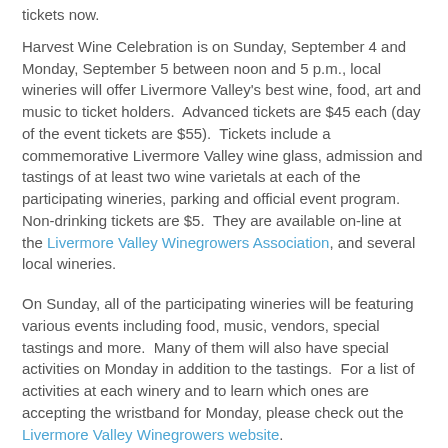tickets now.
Harvest Wine Celebration is on Sunday, September 4 and Monday, September 5 between noon and 5 p.m., local wineries will offer Livermore Valley’s best wine, food, art and music to ticket holders.  Advanced tickets are $45 each (day of the event tickets are $55).  Tickets include a commemorative Livermore Valley wine glass, admission and tastings of at least two wine varietals at each of the participating wineries, parking and official event program.  Non-drinking tickets are $5.  They are available on-line at the Livermore Valley Winegrowers Association, and several local wineries.
On Sunday, all of the participating wineries will be featuring various events including food, music, vendors, special tastings and more.  Many of them will also have special activities on Monday in addition to the tastings.  For a list of activities at each winery and to learn which ones are accepting the wristband for Monday, please check out the Livermore Valley Winegrowers website.